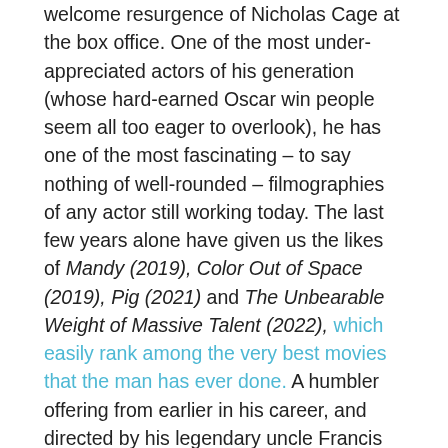welcome resurgence of Nicholas Cage at the box office.  One of the most under-appreciated actors of his generation (whose hard-earned Oscar win people seem all too eager to overlook), he has one of the most fascinating – to say nothing of well-rounded – filmographies of any actor still working today.  The last few years alone have given us the likes of Mandy (2019), Color Out of Space (2019), Pig (2021) and The Unbearable Weight of Massive Talent (2022), which easily rank among the very best movies that the man has ever done.  A humbler offering from earlier in his career, and directed by his legendary uncle Francis Ford Coppola, Peggy Sue Got Married is a quirky little time-travel movie where Nicholas Cage plays a wanna-be (and, later, washed-up) pop singer who is married to (and soon-to-be divorced from) the titular Peggy Sue.  Putting in a far darker and more deceptively